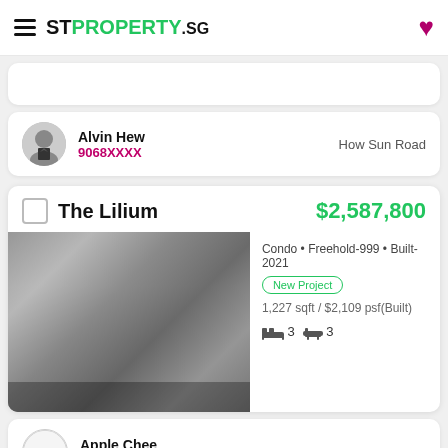STPROPERTY.sg
Alvin Hew
9068XXXX
How Sun Road
The Lilium
$2,587,800
Condo • Freehold-999 • Built-2021
New Project
1,227 sqft / $2,109 psf(Built)
3 beds  3 baths
Apple Chee
9726XXXX
How Sun Road